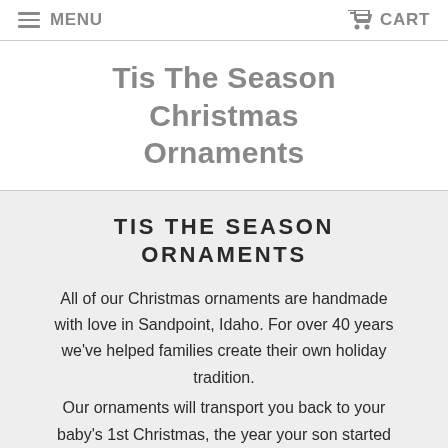MENU   CART
Tis The Season Christmas Ornaments
TIS THE SEASON ORNAMENTS
All of our Christmas ornaments are handmade with love in Sandpoint, Idaho. For over 40 years we've helped families create their own holiday tradition.
Our ornaments will transport you back to your baby's 1st Christmas, the year your son started karate or the special day your oldest daughter